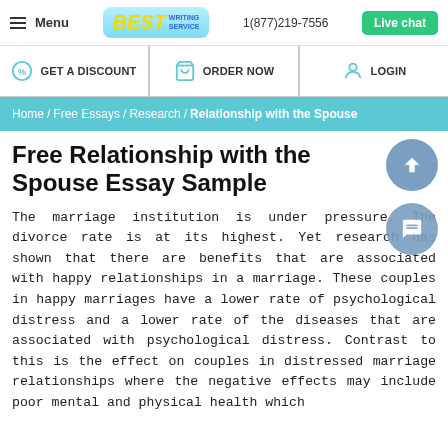Menu | BEST WRITING SERVICE | 1(877)219-7556 | Live chat
GET A DISCOUNT | ORDER NOW | LOGIN
Home / Free Essays / Research / Relationship with the Spouse
Free Relationship with the Spouse Essay Sample
The marriage institution is under pressure. The divorce rate is at its highest. Yet research has shown that there are benefits that are associated with happy relationships in a marriage. These couples in happy marriages have a lower rate of psychological distress and a lower rate of the diseases that are associated with psychological distress. Contrast to this is the effect on couples in distressed marriage relationships where the negative effects may include poor mental and physical health which affects on the effects...